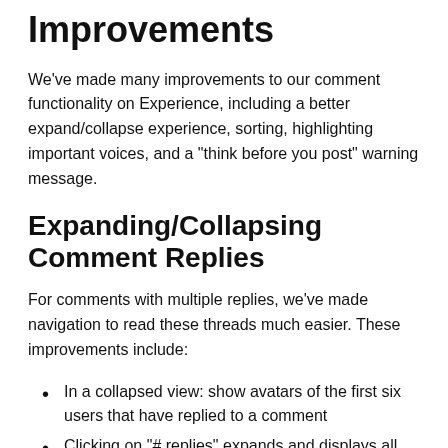Improvements
We've made many improvements to our comment functionality on Experience, including a better expand/collapse experience, sorting, highlighting important voices, and a "think before you post" warning message.
Expanding/Collapsing Comment Replies
For comments with multiple replies, we've made navigation to read these threads much easier. These improvements include:
In a collapsed view: show avatars of the first six users that have replied to a comment
Clicking on "# replies" expands and displays all